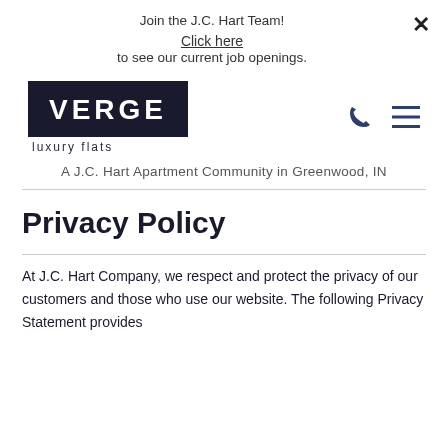Join the J.C. Hart Team!
Click here
to see our current job openings.
[Figure (logo): VERGE luxury flats logo — black box with white uppercase VERGE text, below it 'luxury flats' in dark text]
A J.C. Hart Apartment Community in Greenwood, IN
Privacy Policy
At J.C. Hart Company, we respect and protect the privacy of our customers and those who use our website. The following Privacy Statement provides